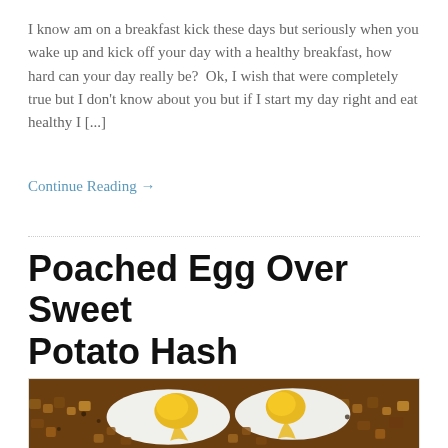I know am on a breakfast kick these days but seriously when you wake up and kick off your day with a healthy breakfast, how hard can your day really be?  Ok, I wish that were completely true but I don't know about you but if I start my day right and eat healthy I [...]
Continue Reading →
Poached Egg Over Sweet Potato Hash
[Figure (photo): Photo of poached eggs over sweet potato hash, showing runny yolks over white egg whites atop diced roasted sweet potato pieces on a light blue plate]